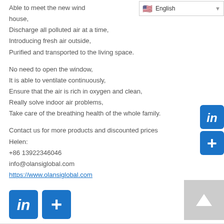Able to meet the new wind house,
Discharge all polluted air at a time,
Introducing fresh air outside,
Purified and transported to the living space.
No need to open the window,
It is able to ventilate continuously,
Ensure that the air is rich in oxygen and clean,
Really solve indoor air problems,
Take care of the breathing health of the whole family.
Contact us for more products and discounted prices Helen:
+86 13922346046
info@olansiglobal.com
https://www.olansiglobal.com